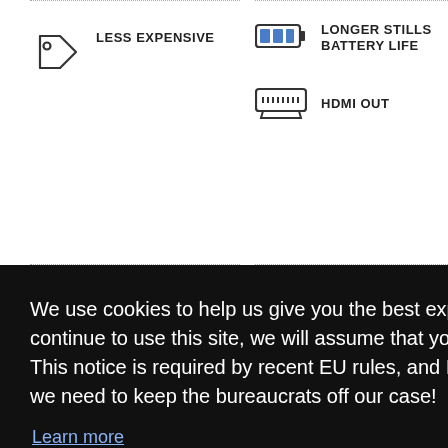[Figure (illustration): Price tag icon - outline style]
LESS EXPENSIVE
[Figure (illustration): Battery icon with blue fill bars]
LONGER STILLS BATTERY LIFE
[Figure (illustration): HDMI port connector icon]
HDMI OUT
We use cookies to help us give you the best experience on IR. If you continue to use this site, we will assume that you're happy with this. This notice is required by recent EU rules, and IR is read globally, so we need to keep the bureaucrats off our case!
Learn more
Got it!
[Figure (photo): Camera product photos at the bottom of page]